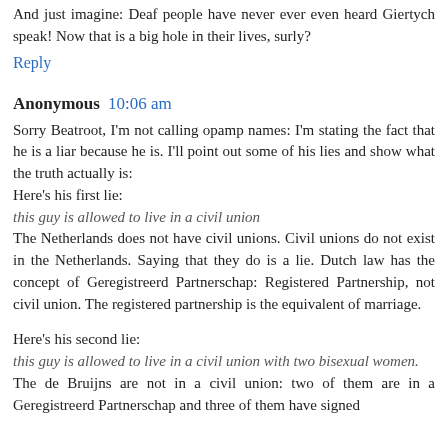And just imagine: Deaf people have never ever even heard Giertych speak! Now that is a big hole in their lives, surly?
Reply
Anonymous  10:06 am
Sorry Beatroot, I'm not calling opamp names: I'm stating the fact that he is a liar because he is. I'll point out some of his lies and show what the truth actually is:
Here's his first lie:
this guy is allowed to live in a civil union
The Netherlands does not have civil unions. Civil unions do not exist in the Netherlands. Saying that they do is a lie. Dutch law has the concept of Geregistreerd Partnerschap: Registered Partnership, not civil union. The registered partnership is the equivalent of marriage.

Here's his second lie:
this guy is allowed to live in a civil union with two bisexual women.
The de Bruijns are not in a civil union: two of them are in a Geregistreerd Partnerschap and three of them have signed